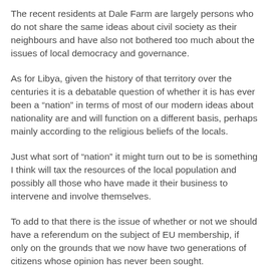The recent residents at Dale Farm are largely persons who do not share the same ideas about civil society as their neighbours and have also not bothered too much about the issues of local democracy and governance.
As for Libya, given the history of that territory over the centuries it is a debatable question of whether it is has ever been a “nation” in terms of most of our modern ideas about nationality are and will function on a different basis, perhaps mainly according to the religious beliefs of the locals.
Just what sort of “nation” it might turn out to be is something I think will tax the resources of the local population and possibly all those who have made it their business to intervene and involve themselves.
To add to that there is the issue of whether or not we should have a referendum on the subject of EU membership, if only on the grounds that we now have two generations of citizens whose opinion has never been sought.
For those who were old enough to vote there are many of us